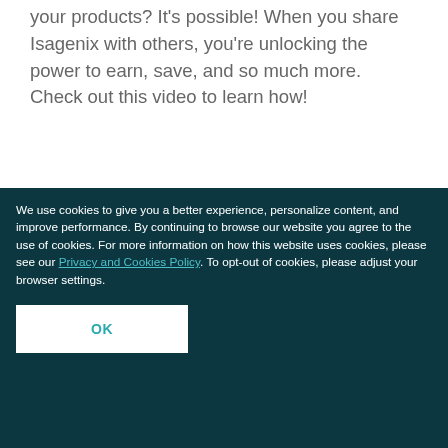your products? It's possible! When you share Isagenix with others, you're unlocking the power to earn, save, and so much more. Check out this video to learn how!
[Figure (photo): Group of young adults smiling and socializing together, several wearing sunglasses, one woman in a wide-brim hat, mostly white/light background]
We use cookies to give you a better experience, personalize content, and improve performance. By continuing to browse our website you agree to the use of cookies. For more information on how this website uses cookies, please see our Privacy and Cookies Policy. To opt-out of cookies, please adjust your browser settings.
OK